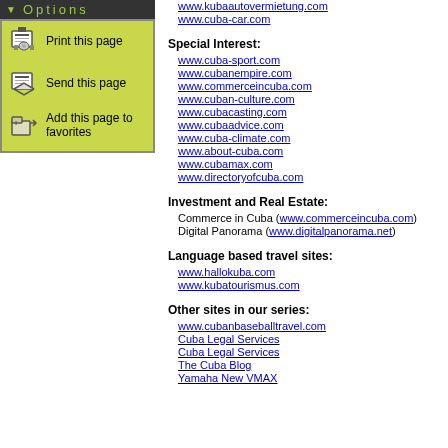[Figure (screenshot): Options panel with yellow-green background showing Print this page, Send this page, and Add this page to favorites options with icons]
www.kubaautovermietung.com
www.cuba-car.com
Special Interest:
www.cuba-sport.com
www.cubanempire.com
www.commerceincuba.com
www.cuban-culture.com
www.cubacasting.com
www.cubaadvice.com
www.cuba-climate.com
www.about-cuba.com
www.cubamax.com
www.directoryofcuba.com
Investment and Real Estate:
Commerce in Cuba (www.commerceincuba.com)
Digital Panorama (www.digitalpanorama.net)
Language based travel sites:
www.hallokuba.com
www.kubatourismus.com
Other sites in our series:
www.cubanbaseballtravel.com
Cuba Legal Services
Cuba Legal Services
The Cuba Blog
Yamaha New VMAX